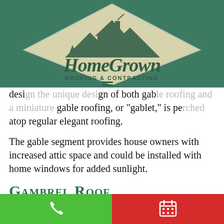[Figure (logo): HomeGrown Roofing & Contracting logo — diamond shape with house/mountain illustration, dark green and gold coloring, overlaid on a teal/green header background]
design the unique design of both gable roofing and a miniature gable roofing, or "gablet," is perched atop regular elegant roofing.
The gable segment provides house owners with increased attic space and could be installed with home windows for added sunlight.
Gambrel Roof
Picture a timeless red-colored barn with a white clip, and you've just envisioned a gambrel roofing. Its two
Phone call button | Schedule button